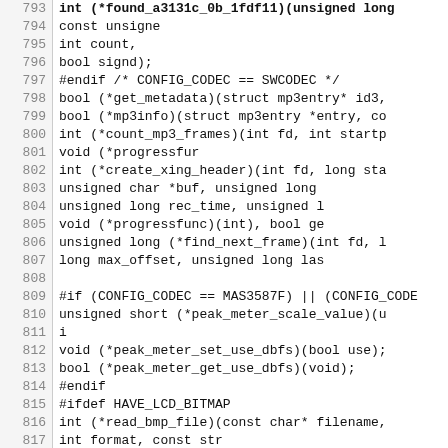Source code listing, lines 793-823, C header file with function pointer declarations for codec, peak meter, bitmap, jpeg functions.